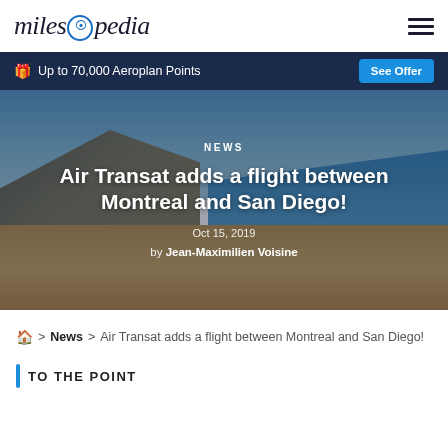milesopedia
Up to 70,000 Aeroplan Points  See Offer
[Figure (photo): Beach scene with sandy shores, cliffs, palm trees, and ocean water under a blue sky — San Diego coastal area]
NEWS
Air Transat adds a flight between Montreal and San Diego!
Oct 15, 2019
by Jean-Maximilien Voisine
🏠 > News > Air Transat adds a flight between Montreal and San Diego!
TO THE POINT